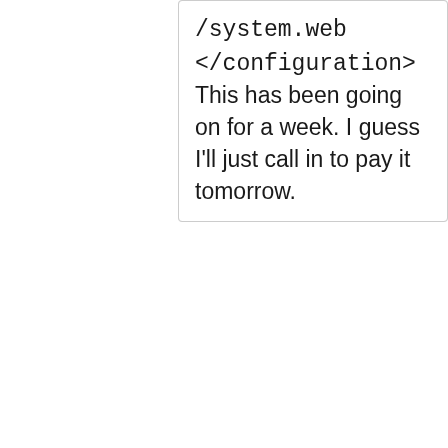/system.web </configuration> This has been going on for a week. I guess I'll just call in to pay it tomorrow.
closed #146258 Website & Web Services Feedback 800-848 North Fee Lane